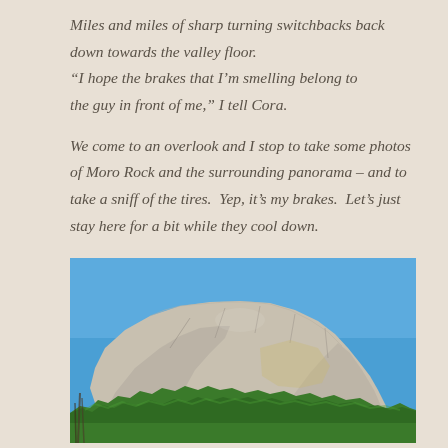Miles and miles of sharp turning switchbacks back down towards the valley floor. “I hope the brakes that I’m smelling belong to the guy in front of me,” I tell Cora.

We come to an overlook and I stop to take some photos of Moro Rock and the surrounding panorama – and to take a sniff of the tires. Yep, it’s my brakes. Let’s just stay here for a bit while they cool down.
[Figure (photo): Photograph of Moro Rock, a large granite dome rising above a forested hillside with green trees, under a bright blue sky.]